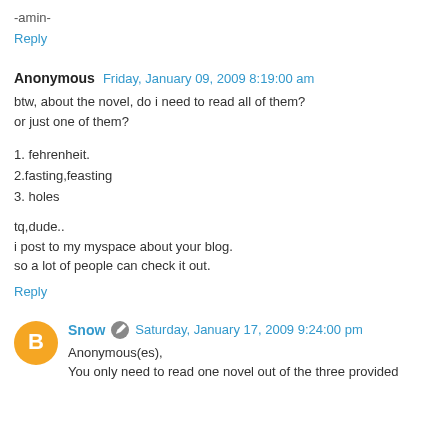-amin-
Reply
Anonymous  Friday, January 09, 2009 8:19:00 am
btw, about the novel, do i need to read all of them? or just one of them?
1. fehrenheit.
2.fasting,feasting
3. holes
tq,dude..
i post to my myspace about your blog.
so a lot of people can check it out.
Reply
Snow  Saturday, January 17, 2009 9:24:00 pm
Anonymous(es),
You only need to read one novel out of the three provided